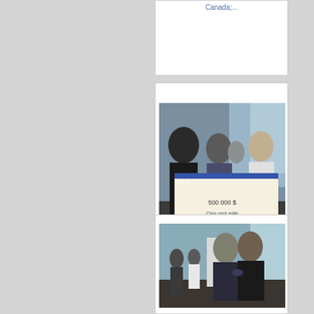Canada;...
[Figure (photo): People holding a large ceremonial check for 500,000$ at an indoor event in Montreal]
1108_Oncologie_243.JPG Montreal (Qc) Canada - August 2011 -Creation of...
[Figure (photo): Two men shaking hands or embracing at an indoor event, with other people in background]